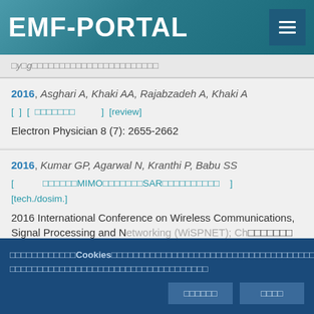EMF-PORTAL
[partial truncated text]
2016, Asghari A, Khaki AA, Rajabzadeh A, Khaki A
[ ] [ □□□□□□□ ] [review]
Electron Physician 8 (7): 2655-2662
2016, Kumar GP, Agarwal N, Kranthi P, Babu SS
[ □□□□□□MIMO□□□□□□□SAR□□□□□□□□□□ ]
[tech./dosim.]
2016 International Conference on Wireless Communications, Signal Processing and Networking (WiSPNET); Chennai IEEE 3424-3428
□□□□□□□□□□□□Cookies□□□□□□□□□□□□□□□□□□□□□□□□□□□□□□□□□
□□□□□□□□□□□□□□□□□□□□□□□□□□□□□□□□□□□□
□□□□□□  □□□□